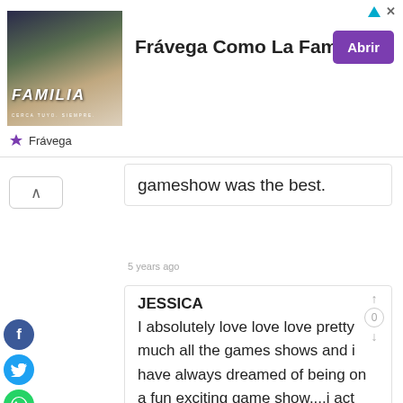[Figure (screenshot): Ad banner for Frávega Como La Familia with image of people playing sports and purple Abrir button]
gameshow was the best.
5 years ago
JESSICA
I absolutely love love love pretty much all the games shows and i have always dreamed of being on a fun exciting game show....i act like im already in the shows in my living room.and i think it would be truley a dream come threw not to mention a blessing...i really cant